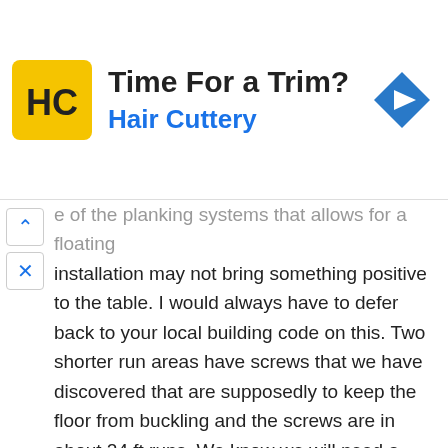[Figure (logo): Hair Cuttery advertisement banner with yellow HC logo, text 'Time For a Trim?' and 'Hair Cuttery', and a blue diamond navigation arrow icon]
e of the planking systems that allows for a floating installation may not bring something positive to the table. I would always have to defer back to your local building code on this. Two shorter run areas have screws that we have discovered that are supposedly to keep the floor from buckling and the screws are in about 24 ft runs. We know we will need a moisture barrier, but because of the issues feel we need to use engineered hardwood vs. We were looking at a lumber liquidator barrier with pre-applied adhesive and would possibly glue the boards in the area where the runs are greater than 27 feet... and is natural hardwood not an option? The house is framed, but before we go any further would like to know how we can go about getting objective proof of having a barrier. You could be having issues with the moisture in the concrete or some type of dew...